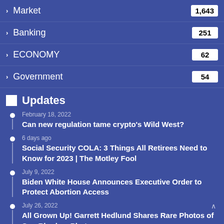Market 1,643
Banking 251
ECONOMY 62
Government 54
Updates
February 18, 2022
Can new regulation tame crypto’s Wild West?
6 days ago
Social Security COLA: 3 Things All Retirees Need to Know for 2023 | The Motley Fool
July 9, 2022
Biden White House Announces Executive Order to Protect Abortion Access
July 26, 2022
All Grown Up! Garrett Hedlund Shares Rare Photos of Son Rhodes: Photos